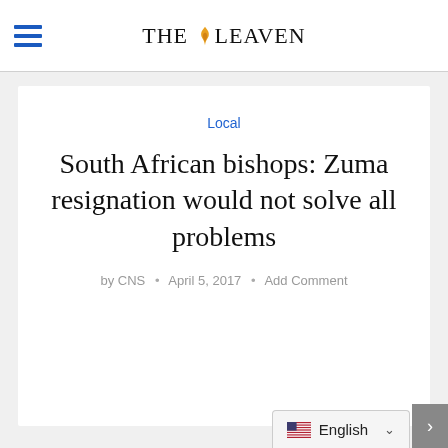THE LEAVEN
Local
South African bishops: Zuma resignation would not solve all problems
by CNS • April 5, 2017 • Add Comment